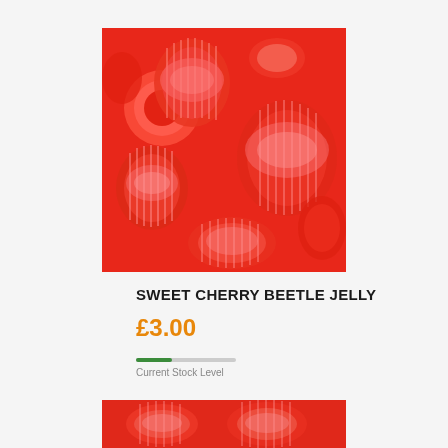[Figure (photo): Overhead photo of red cherry beetle jelly cups piled together, showing small circular red jelly pots with ridged sides.]
SWEET CHERRY BEETLE JELLY
£3.00
Current Stock Level
[Figure (photo): Partial view of similar red jelly sweet products at the bottom of the page.]